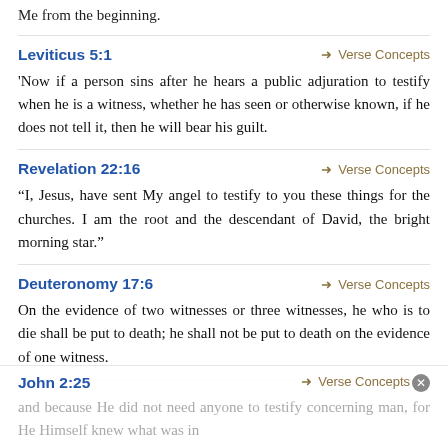Me from the beginning.
Leviticus 5:1
→ Verse Concepts
'Now if a person sins after he hears a public adjuration to testify when he is a witness, whether he has seen or otherwise known, if he does not tell it, then he will bear his guilt.
Revelation 22:16
→ Verse Concepts
“I, Jesus, have sent My angel to testify to you these things for the churches. I am the root and the descendant of David, the bright morning star.”
Deuteronomy 17:6
→ Verse Concepts
On the evidence of two witnesses or three witnesses, he who is to die shall be put to death; he shall not be put to death on the evidence of one witness.
John 2:25
→ Verse Concepts
and because He did not need anyone to testify concerning man, for He Himself knew what was in